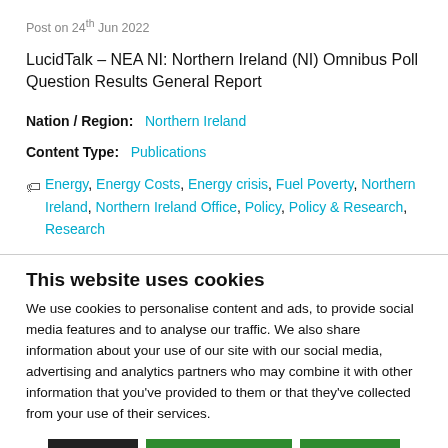Post on 24th Jun 2022
LucidTalk – NEA NI: Northern Ireland (NI) Omnibus Poll Question Results General Report
Nation / Region: Northern Ireland
Content Type: Publications
Energy, Energy Costs, Energy crisis, Fuel Poverty, Northern Ireland, Northern Ireland Office, Policy, Policy & Research, Research
This website uses cookies
We use cookies to personalise content and ads, to provide social media features and to analyse our traffic. We also share information about your use of our site with our social media, advertising and analytics partners who may combine it with other information that you've provided to them or that they've collected from your use of their services.
Deny | Allow selection | Allow all
Necessary | Preferences | Statistics | Marketing | Show details